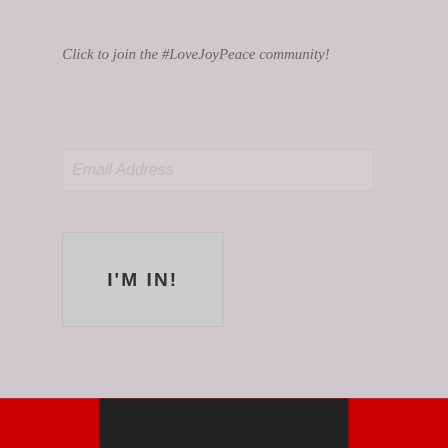Click to join the #LoveJoyPeace community!
Email Address
I'M IN!
[Figure (other): Follow LoveJoyPeace WordPress button with count 95]
Privacy & Cookies: This site uses cookies. By continuing to use this website, you agree to their use.
To find out more, including how to control cookies, see here: Cookie Policy
Close and accept